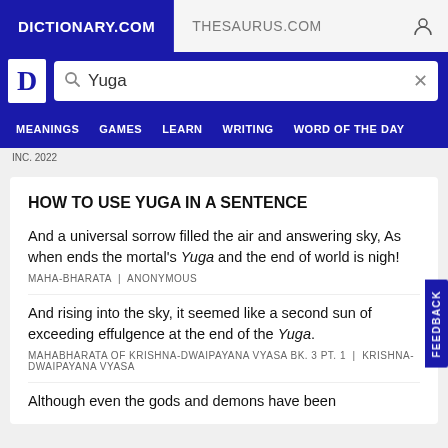DICTIONARY.COM | THESAURUS.COM
[Figure (screenshot): Dictionary.com logo with white D icon on blue background]
[Figure (screenshot): Search bar with magnifying glass icon showing 'Yuga' and X close button]
MEANINGS  GAMES  LEARN  WRITING  WORD OF THE DAY
INC. 2022
HOW TO USE YUGA IN A SENTENCE
And a universal sorrow filled the air and answering sky, As when ends the mortal's Yuga and the end of world is nigh!
MAHA-BHARATA  |  ANONYMOUS
And rising into the sky, it seemed like a second sun of exceeding effulgence at the end of the Yuga.
MAHABHARATA OF KRISHNA-DWAIPAYANA VYASA BK. 3 PT. 1  |  KRISHNA-DWAIPAYANA VYASA
Although even the gods and demons have been